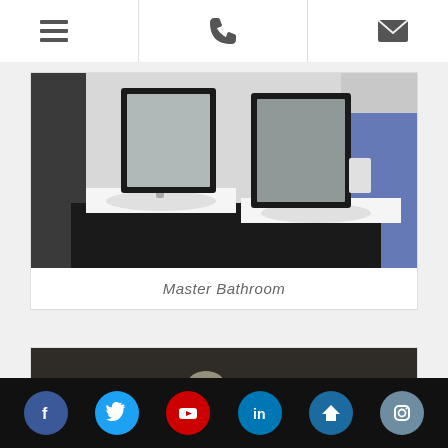Navigation header with menu, phone, and email icons
[Figure (photo): Master bathroom with double floating vanity, two white sinks with chrome faucets, and two rectangular black-framed mirrors mounted on a white wall]
Master Bathroom
[Figure (photo): Partial view of a dark room with a small round ceiling light visible]
Social media icons: Facebook, Twitter, YouTube, LinkedIn, Zillow, Instagram